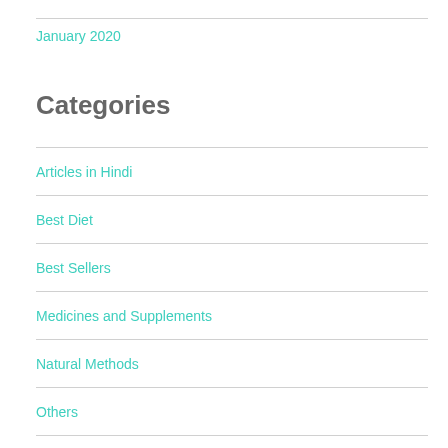January 2020
Categories
Articles in Hindi
Best Diet
Best Sellers
Medicines and Supplements
Natural Methods
Others
Programs